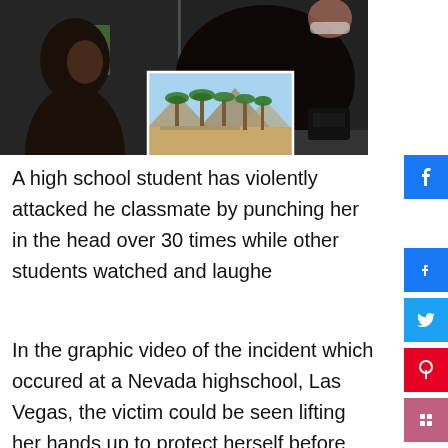[Figure (photo): Split image showing a classroom fight scene: left side shows students including a girl with dark hair, right side shows a student with dark hair slumped over a desk with papers. An inset photo shows palm trees in Las Vegas desert setting.]
A high school student has violently attacked her classmate by punching her in the head over 30 times while other students watched and laughed
In the graphic video of the incident which occured at a Nevada highschool, Las Vegas, the victim could be seen lifting her hands up to protect herself before laying her head on her desk while the attacker continues to hit her head.